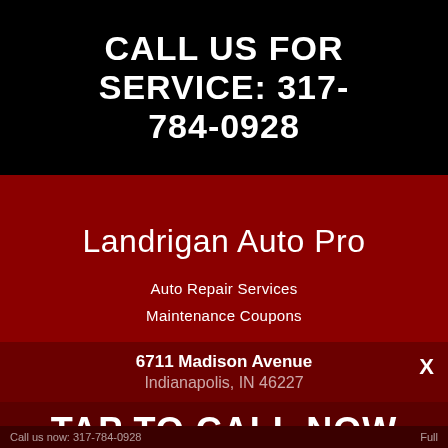CALL US FOR SERVICE: 317-784-0928
Landrigan Auto Pro
Auto Repair Services
Maintenance Coupons
6711 Madison Avenue
Indianapolis, IN 46227
TAP TO CALL NOW
317-784-0928
317-784-0928